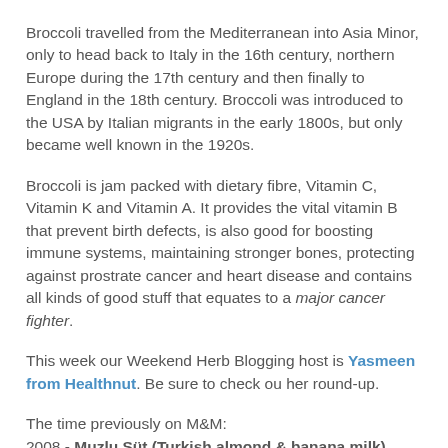Broccoli travelled from the Mediterranean into Asia Minor, only to head back to Italy in the 16th century, northern Europe during the 17th century and then finally to England in the 18th century. Broccoli was introduced to the USA by Italian migrants in the early 1800s, but only became well known in the 1920s.
Broccoli is jam packed with dietary fibre, Vitamin C, Vitamin K and Vitamin A. It provides the vital vitamin B that prevent birth defects, is also good for boosting immune systems, maintaining stronger bones, protecting against prostrate cancer and heart disease and contains all kinds of good stuff that equates to a major cancer fighter.
This week our Weekend Herb Blogging host is Yasmeen from Healthnut. Be sure to check ou her round-up.
The time previously on M&M:
2008 - Muzlu Süt (Turkish almond & banana milk)
2007 - Omani Spiced Tuna
2006 - Spaghetti con Zucchini